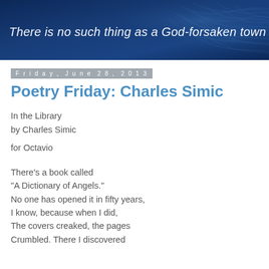[Figure (illustration): Dark navy blue banner with leaf vein texture pattern overlay and handwritten-style italic white text reading: There is no such thing as a God-forsaken town]
Friday, June 28, 2013
Poetry Friday: Charles Simic
In the Library
by Charles Simic
for Octavio
There's a book called
"A Dictionary of Angels."
No one has opened it in fifty years,
I know, because when I did,
The covers creaked, the pages
Crumbled. There I discovered